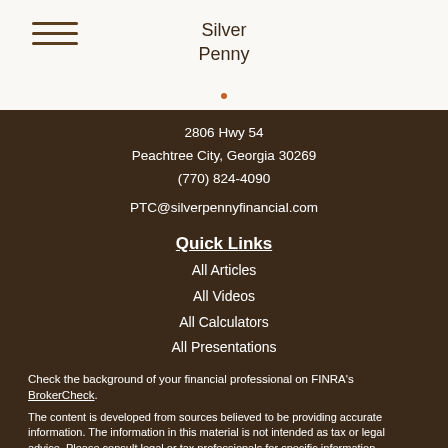Silver Penny
2806 Hwy 54
Peachtree City, Georgia 30269
(770) 824-4090
PTC@silverpennyfinancial.com
Quick Links
All Articles
All Videos
All Calculators
All Presentations
Check the background of your financial professional on FINRA's BrokerCheck.
The content is developed from sources believed to be providing accurate information. The information in this material is not intended as tax or legal advice. Please consult legal or tax professionals for specific information regarding your individual situation. Some of this material was developed and produced by FMG Suite to provide information on a topic that may be of interest. FMG Suite is not affiliated with the named representative, broker - dealer, state - or SEC - registered investment advisory firm. The opinions expressed and material provided are for